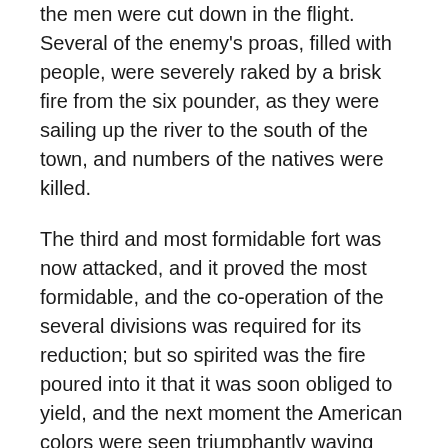the men were cut down in the flight. Several of the enemy's proas, filled with people, were severely raked by a brisk fire from the six pounder, as they were sailing up the river to the south of the town, and numbers of the natives were killed.
The third and most formidable fort was now attacked, and it proved the most formidable, and the co-operation of the several divisions was required for its reduction; but so spirited was the fire poured into it that it was soon obliged to yield, and the next moment the American colors were seen triumphantly waving over its battlements. The greater part of the town was reduced to ashes. The bazaar, the principal place of merchandize, and most of the private dwellings were consumed by fire.
The triumph had now been completed over